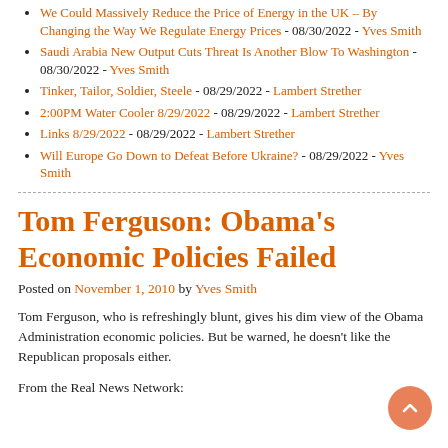We Could Massively Reduce the Price of Energy in the UK – By Changing the Way We Regulate Energy Prices - 08/30/2022 - Yves Smith
Saudi Arabia New Output Cuts Threat Is Another Blow To Washington - 08/30/2022 - Yves Smith
Tinker, Tailor, Soldier, Steele - 08/29/2022 - Lambert Strether
2:00PM Water Cooler 8/29/2022 - 08/29/2022 - Lambert Strether
Links 8/29/2022 - 08/29/2022 - Lambert Strether
Will Europe Go Down to Defeat Before Ukraine? - 08/29/2022 - Yves Smith
Tom Ferguson: Obama's Economic Policies Failed
Posted on November 1, 2010 by Yves Smith
Tom Ferguson, who is refreshingly blunt, gives his dim view of the Obama Administration economic policies. But be warned, he doesn't like the Republican proposals either.
From the Real News Network: